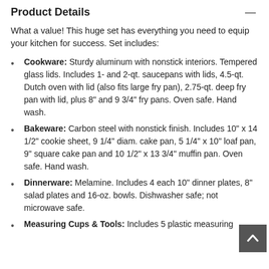Product Details
What a value! This huge set has everything you need to equip your kitchen for success. Set includes:
Cookware: Sturdy aluminum with nonstick interiors. Tempered glass lids. Includes 1- and 2-qt. saucepans with lids, 4.5-qt. Dutch oven with lid (also fits large fry pan), 2.75-qt. deep fry pan with lid, plus 8" and 9 3/4" fry pans. Oven safe. Hand wash.
Bakeware: Carbon steel with nonstick finish. Includes 10" x 14 1/2" cookie sheet, 9 1/4" diam. cake pan, 5 1/4" x 10" loaf pan, 9" square cake pan and 10 1/2" x 13 3/4" muffin pan. Oven safe. Hand wash.
Dinnerware: Melamine. Includes 4 each 10" dinner plates, 8" salad plates and 16-oz. bowls. Dishwasher safe; not microwave safe.
Measuring Cups & Tools: Includes 5 plastic measuring